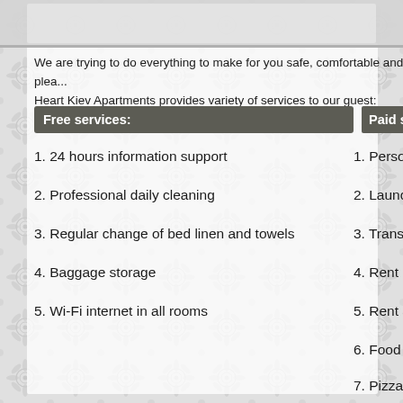[Figure (illustration): Ornamental damask/floral pattern decorative background band at top of page]
We are trying to do everything to make for you safe, comfortable and plea...
Heart Kiev Apartments provides variety of services to our guest:
Free services:
Paid ser...
1. 24 hours information support
2. Professional daily cleaning
3. Regular change of bed linen and towels
4. Baggage storage
5. Wi-Fi internet in all rooms
1. Perso...
2. Launc...
3. Transl...
4. Rent b...
5. Rent a...
6. Food...
7. Pizza...